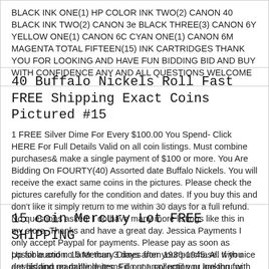BLACK INK ONE(1) HP COLOR INK TWO(2) CANON 40 BLACK INK TWO(2) CANON 3e BLACK THREE(3) CANON 6Y YELLOW ONE(1) CANON 6C CYAN ONE(1) CANON 6M MAGENTA TOTAL FIFTEEN(15) INK CARTRIDGES THANK YOU FOR LOOKING AND HAVE FUN BIDDING BID AND BUY WITH CONFIDENCE ANY AND ALL QUESTIONS WELCOME
40 Buffalo Nickels Roll Fast FREE Shipping Exact Coins Pictured #15
1 FREE Silver Dime For Every $100.00 You Spend- Click HERE For Full Details Valid on all coin listings. Must combine purchases& make a single payment of $100 or more. You Are Bidding On FOURTY(40) Assorted date Buffalo Nickels. You will receive the exact same coins in the pictures. Please check the pictures carefully for the condition and dates. If you buy this and don't like it simply return to me within 30 days for a full refund. No questions asked. I do have many more listings like this in my store. Thanks and have a great day. Jessica Payments I only accept Paypal for payments. Please pay as soon as possible and no later than 3 days after your purchase. If you are bidding on multiple items do not pay until you are thru with all your auctions. Even if I send you a invoice. Generally speaking I do not open a unpaid item case until ... more
15 coin Mercury Lot FREE SHIPPING
Up for auction: 15 Mercury Dimes from 1936-1945. All with nice details and readable dates. Fill out a collection or looking for silver here you go. The pictures are of the exact coins you will be receiving. Thank you for looking. Posted with